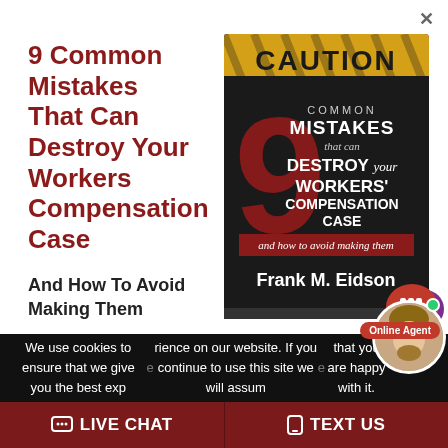9 Common Mistakes That Can Destroy Your Workers Compensation Case
And How To Avoid Making Them
[Figure (photo): Book cover: '9 Common Mistakes that can Destroy your Workers' Compensation Case and how to avoid making them' by Frank M. Eidson. Cover features a caution tape background, large red number 9, and white text on black.]
We use cookies to ensure that we give you the best experience on our website. If you continue to use this site we will assume that you are happy with it.
LIVE CHAT
TEXT US